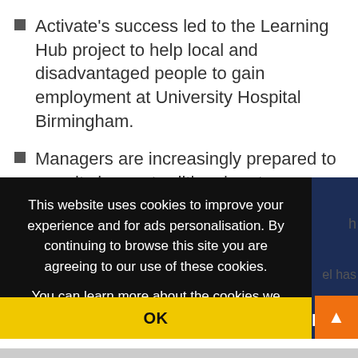Activate's success led to the Learning Hub project to help local and disadvantaged people to gain employment at University Hospital Birmingham.
Managers are increasingly prepared to recruit via non-traditional routes.
[Figure (screenshot): Cookie consent overlay on a dark background with text: 'This website uses cookies to improve your experience and for ads personalisation. By continuing to browse this site you are agreeing to our use of these cookies. You can learn more about the cookies we use here.' with an OK button bar in yellow below.]